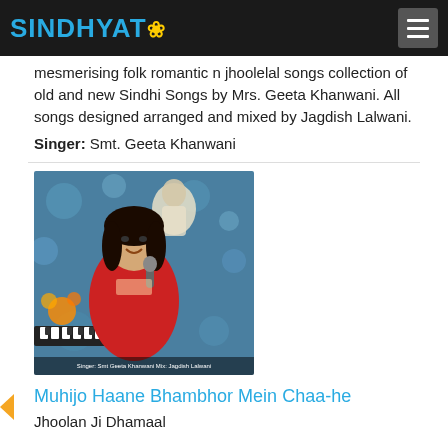SINDHYAT
mesmerising folk romantic n jhoolelal songs collection of old and new Sindhi Songs by Mrs. Geeta Khanwani. All songs designed arranged and mixed by Jagdish Lalwani.
Singer: Smt. Geeta Khanwani
[Figure (photo): Album cover photo showing Smt. Geeta Khanwani in a red dress holding a microphone, with a religious figure in the background and musical instruments.]
Muhijo Haane Bhambhor Mein Chaa-he
Jhoolan Ji Dhamaal